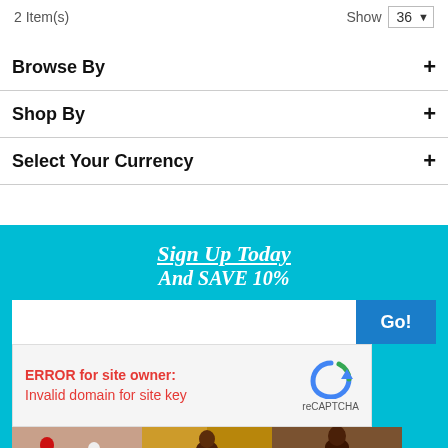2 Item(s)
Show 36
Browse By
Shop By
Select Your Currency
Sign Up Today And SAVE 10%
ERROR for site owner: Invalid domain for site key
[Figure (photo): Three chess piece photo panels showing red/white chess pieces, wooden chess pieces on board, and dark wooden chess pieces]